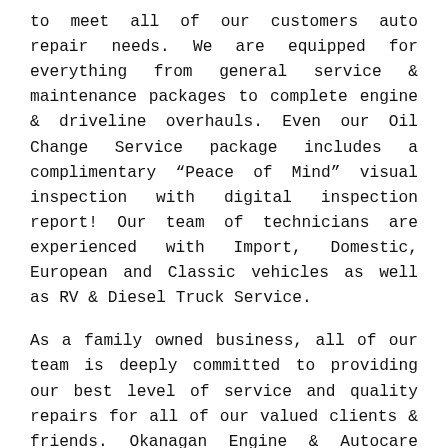to meet all of our customers auto repair needs. We are equipped for everything from general service & maintenance packages to complete engine & driveline overhauls. Even our Oil Change Service package includes a complimentary “Peace of Mind” visual inspection with digital inspection report! Our team of technicians are experienced with Import, Domestic, European and Classic vehicles as well as RV & Diesel Truck Service.
As a family owned business, all of our team is deeply committed to providing our best level of service and quality repairs for all of our valued clients & friends. Okanagan Engine & Autocare aims to be your one stop shop, with expert knowledge and an excellent reputation.